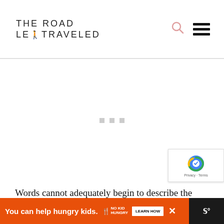THE ROAD LESS TRAVELED
[Figure (other): Advertisement placeholder with three gray dots centered]
[Figure (other): reCAPTCHA badge with logo, Privacy and Terms links]
Words cannot adequately begin to describe the love affair I have with the country of Morocco. Set in the northern tip of Africa, a dream vacation
[Figure (other): Advertisement banner: orange background, 'You can help hungry kids.' No Kid Hungry logo, LEARN HOW button, close X button]